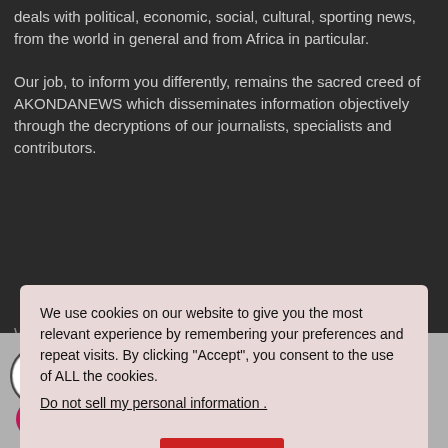deals with political, economic, social, cultural, sporting news, from the world in general and from Africa in particular.
Our job, to inform you differently, remains the sacred creed of AKONDANEWS which disseminates information objectively through the decryptions of our journalists, specialists and contributors.
We use cookies on our website to give you the most relevant experience by remembering your preferences and repeat visits. By clicking "Accept", you consent to the use of ALL the cookies.
Do not sell my personal information .
Cookie settings   ACCEPT
World
AkondaRadio
LIVE